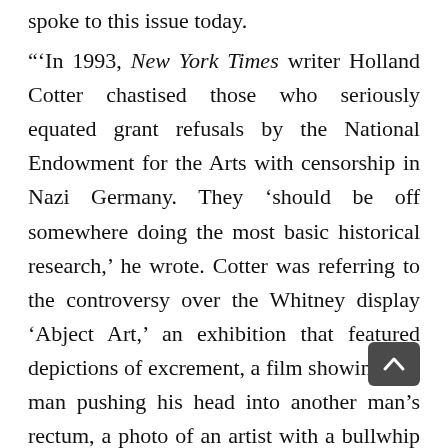spoke to this issue today.
“‘In 1993, New York Times writer Holland Cotter chastised those who seriously equated grant refusals by the National Endowment for the Arts with censorship in Nazi Germany. They ‘should be off somewhere doing the most basic historical research,’ he wrote. Cotter was referring to the controversy over the Whitney display ‘Abject Art,’ an exhibition that featured depictions of excrement, a film showing one man pushing his head into another man’s rectum, a photo of an artist with a bullwhip in his rectum, etc. The same